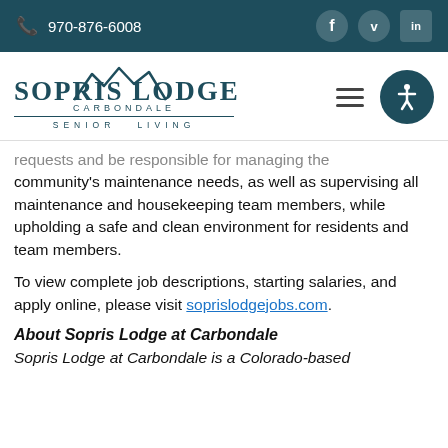970-876-6008
[Figure (logo): Sopris Lodge Carbondale Senior Living logo with mountain graphic]
requests and be responsible for managing the community's maintenance needs, as well as supervising all maintenance and housekeeping team members, while upholding a safe and clean environment for residents and team members.
To view complete job descriptions, starting salaries, and apply online, please visit soprislodgejobs.com.
About Sopris Lodge at Carbondale
Sopris Lodge at Carbondale is a Colorado-based